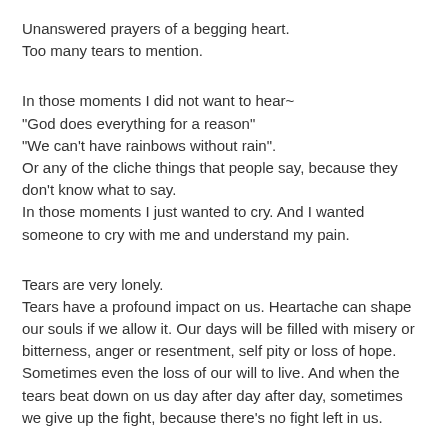Unanswered prayers of a begging heart.
Too many tears to mention.
In those moments I did not want to hear~
"God does everything for a reason"
"We can't have rainbows without rain".
Or any of the cliche things that people say, because they don't know what to say.
In those moments I just wanted to cry. And I wanted someone to cry with me and understand my pain.
Tears are very lonely.
Tears have a profound impact on us. Heartache can shape our souls if we allow it. Our days will be filled with misery or bitterness, anger or resentment, self pity or loss of hope. Sometimes even the loss of our will to live. And when the tears beat down on us day after day after day, sometimes we give up the fight, because there's no fight left in us.